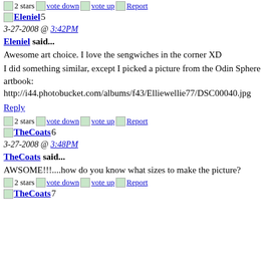2 stars | vote down | vote up | Report | Eleniel5
3-27-2008 @ 3:42PM
Eleniel said...
Awesome art choice. I love the sengwiches in the corner XD
I did something similar, except I picked a picture from the Odin Sphere artbook:
http://i44.photobucket.com/albums/f43/Elliewellie77/DSC00040.jpg
Reply
2 stars | vote down | vote up | Report | TheCoats6
3-27-2008 @ 3:48PM
TheCoats said...
AWSOME!!!....how do you know what sizes to make the picture?
2 stars | vote down | vote up | Report | TheCoats7